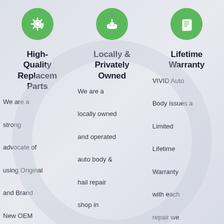[Figure (infographic): Three-column infographic with green circle icons at top. Left column: gear/settings icon, center column: hands holding icon, right column: document/scroll icon.]
High-Quality Replacement Parts
We are a strong advocate of using Original and Brand New OEM Parts for the
Locally & Privately Owned
We are a locally owned and operated auto body & hail repair shop in McKinney, TX. We are not a
Lifetime Warranty
VIVID Auto Body issues a Limited Lifetime Warranty with each repair we perform. Our Repair Policy